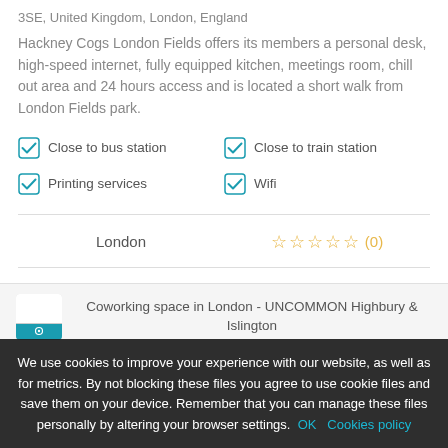3SE, United Kingdom, London, England
Hackney Cogs London Fields offers its members a personal desk, high-speed internet, fully equipped kitchen, meetings room, chill out area and 24 hours access and is located a short walk from London Fields park.
Close to bus station
Close to train station
Printing services
Wifi
London
☆☆☆☆☆ (0)
Contact us
no phone
Coworking space in London - UNCOMMON Highbury & Islington
We use cookies to improve your experience with our website, as well as for metrics. By not blocking these files you agree to use cookie files and save them on your device. Remember that you can manage these files personally by altering your browser settings. OK Cookies policy